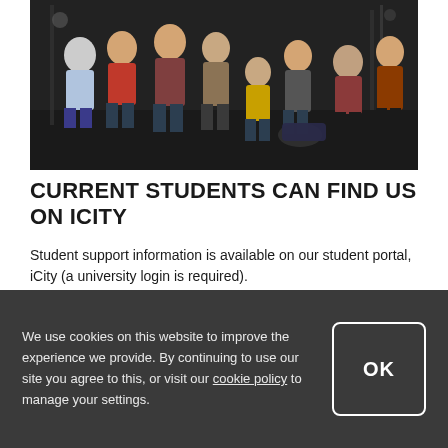[Figure (photo): Group of students sitting in a dark studio/photography setting, mixed group of young adults in casual clothing]
CURRENT STUDENTS CAN FIND US ON ICITY
Student support information is available on our student portal, iCity (a university login is required).
Find us on iCity
We use cookies on this website to improve the experience we provide. By continuing to use our site you agree to this, or visit our cookie policy to manage your settings.